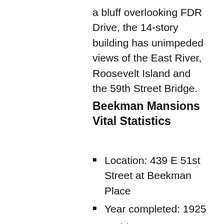a bluff overlooking FDR Drive, the 14-story building has unimpeded views of the East River, Roosevelt Island and the 59th Street Bridge.
Beekman Mansions Vital Statistics
Location: 439 E 51st Street at Beekman Place
Year completed: 1925
Architect: Van Wart & Wein
Floors: 10